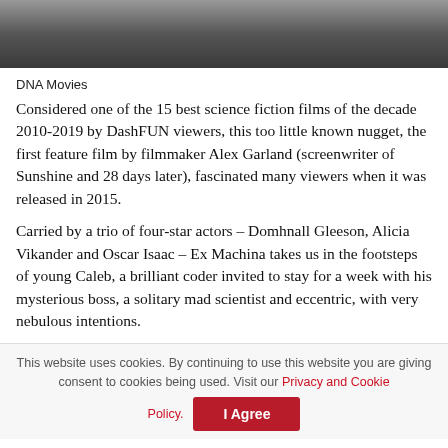[Figure (photo): Partial photo of a person, cropped at top of page, dark background]
DNA Movies
Considered one of the 15 best science fiction films of the decade 2010-2019 by DashFUN viewers, this too little known nugget, the first feature film by filmmaker Alex Garland (screenwriter of Sunshine and 28 days later), fascinated many viewers when it was released in 2015.
Carried by a trio of four-star actors – Domhnall Gleeson, Alicia Vikander and Oscar Isaac – Ex Machina takes us in the footsteps of young Caleb, a brilliant coder invited to stay for a week with his mysterious boss, a solitary mad scientist and eccentric, with very nebulous intentions.
This website uses cookies. By continuing to use this website you are giving consent to cookies being used. Visit our Privacy and Cookie Policy.